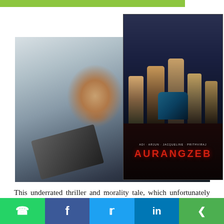[Figure (photo): Actor pointing a gun at the camera, close-up dramatic shot; overlaid with Aurangzeb movie poster showing group of men]
This underrated thriller and morality tale, which unfortunately lost out in the visibility stakes to D-Day releasing only two months later, cast Rishi Kapoor in a rare role as a police officer. If there’s one character the star never played in his heyday and never looked comfortable playing later either (in Gurudev, 1993, for example), it is that of a cop. But as DCP Pratap...
WhatsApp  f  Twitter  in  Share